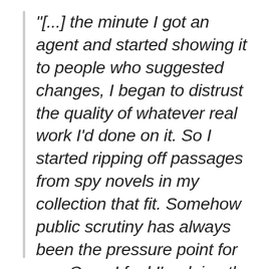"[...] the minute I got an agent and started showing it to people who suggested changes, I began to distrust the quality of whatever real work I'd done on it. So I started ripping off passages from spy novels in my collection that fit. Somehow public scrutiny has always been the pressure point for me. Once I feel I'm doing the work for someone else's eyes, I begin stealing, because I want to impress.